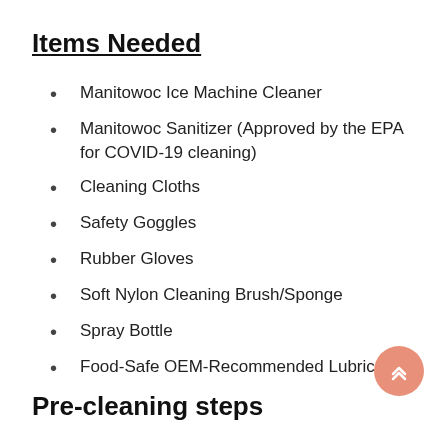Items Needed
Manitowoc Ice Machine Cleaner
Manitowoc Sanitizer (Approved by the EPA for COVID-19 cleaning)
Cleaning Cloths
Safety Goggles
Rubber Gloves
Soft Nylon Cleaning Brush/Sponge
Spray Bottle
Food-Safe OEM-Recommended Lubricant
Pre-cleaning steps